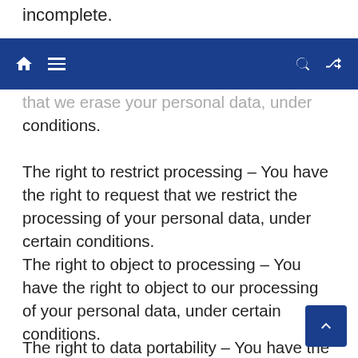incomplete.
that we erase your personal data, under certain conditions.
The right to restrict processing – You have the right to request that we restrict the processing of your personal data, under certain conditions.
The right to object to processing – You have the right to object to our processing of your personal data, under certain conditions.
The right to data portability – You have the right to request that we transfer the data that we have